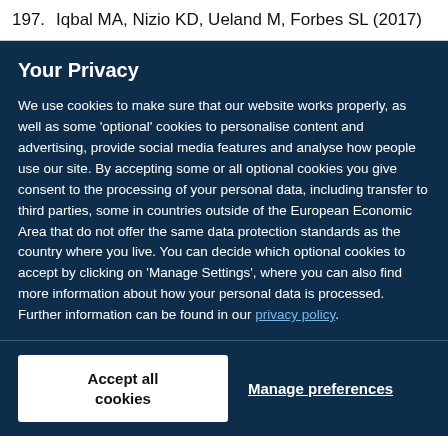197.  Iqbal MA, Nizio KD, Ueland M, Forbes SL (2017)
Your Privacy
We use cookies to make sure that our website works properly, as well as some 'optional' cookies to personalise content and advertising, provide social media features and analyse how people use our site. By accepting some or all optional cookies you give consent to the processing of your personal data, including transfer to third parties, some in countries outside of the European Economic Area that do not offer the same data protection standards as the country where you live. You can decide which optional cookies to accept by clicking on 'Manage Settings', where you can also find more information about how your personal data is processed. Further information can be found in our privacy policy.
Accept all cookies
Manage preferences